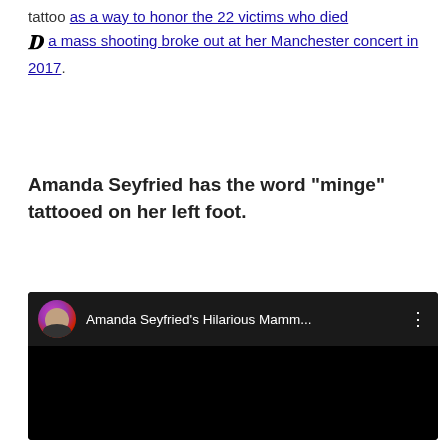tattoo as a way to honor the 22 victims who died [D logo] a mass shooting broke out at her Manchester concert in 2017.
Amanda Seyfried has the word "minge" tattooed on her left foot.
[Figure (screenshot): YouTube video embed with dark background showing title 'Amanda Seyfried's Hilarious Mamm...' with a circular avatar of a bearded man and three-dot menu icon]